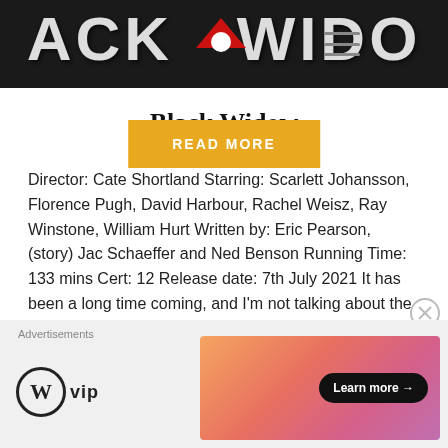[Figure (screenshot): Black Widow movie header banner with large white stylized text on dark background with red graphic element and hamburger menu icon]
Black Widow
Director: Cate Shortland Starring: Scarlett Johansson, Florence Pugh, David Harbour, Rachel Weisz, Ray Winstone, William Hurt Written by: Eric Pearson, (story) Jac Schaeffer and Ned Benson Running Time: 133 mins Cert: 12 Release date: 7th July 2021 It has been a long time coming, and I'm not talking about the original release of May 2020,…
READ MORE
Advertisements
[Figure (logo): WordPress VIP logo with W circle icon and 'vip' text]
[Figure (illustration): Colorful gradient advertisement banner with 'Learn more →' button]